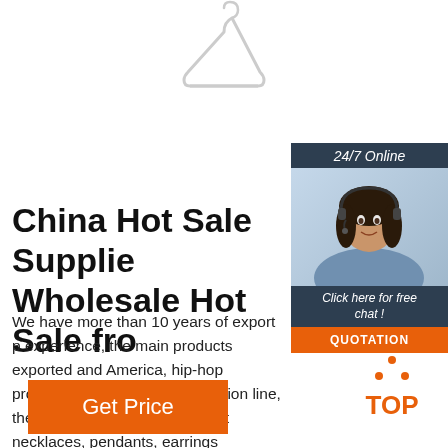[Figure (illustration): White clothes hanger icon at top center of page]
[Figure (photo): Customer service agent woman with headset, smiling, with '24/7 Online' header bar and 'Click here for free chat!' overlay, and orange QUOTATION button]
China Hot Sale Supplie Wholesale Hot Sale fro
We have more than 10 years of export p experience, the main products exported and America, hip-hop products is the co main production line, the other compani factory direct necklaces, pendants, earrings products, hand jewelry, necklaces, earrin
[Figure (logo): Orange TOP logo with dots arranged in triangle above the text TOP]
Get Price